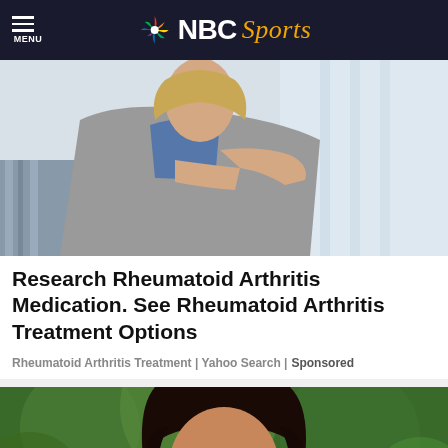MENU | NBC Sports
[Figure (photo): Woman holding her wrist/arm, appears to be in pain, sitting on a couch with striped pillow, wearing grey cardigan over blue top, blonde hair]
Research Rheumatoid Arthritis Medication. See Rheumatoid Arthritis Treatment Options
Rheumatoid Arthritis Treatment | Yahoo Search | Sponsored
[Figure (photo): Smiling woman with dark hair and earrings, outdoors with green foliage background]